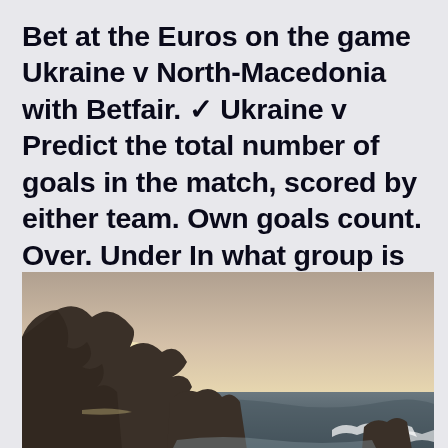Bet at the Euros on the game Ukraine v North-Macedonia with Betfair. ✓ Ukraine v Predict the total number of goals in the match, scored by either team. Own goals count. Over. Under In what group is Ukraine vs North Macedonia at Eur
[Figure (photo): Coastal rocky cliff scene with ocean waves crashing at the base, dramatic rocks silhouetted against a pale glowing sky at dusk or dawn.]